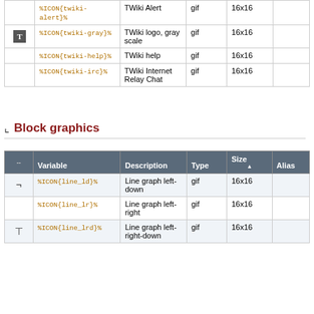|  | Variable | Description | Type | Size | Alias |
| --- | --- | --- | --- | --- | --- |
|  | %ICON{twiki-alert}% | TWiki Alert | gif | 16x16 |  |
| [T icon] | %ICON{twiki-gray}% | TWiki logo, gray scale | gif | 16x16 |  |
|  | %ICON{twiki-help}% | TWiki help | gif | 16x16 |  |
|  | %ICON{twiki-irc}% | TWiki Internet Relay Chat | gif | 16x16 |  |
Block graphics
|  | Variable | Description | Type | Size ▲ | Alias |
| --- | --- | --- | --- | --- | --- |
| ¬ | %ICON{line_ld}% | Line graph left-down | gif | 16x16 |  |
|  | %ICON{line_lr}% | Line graph left-right | gif | 16x16 |  |
| ⊤ | %ICON{line_lrd}% | Line graph left-right-down | gif | 16x16 |  |